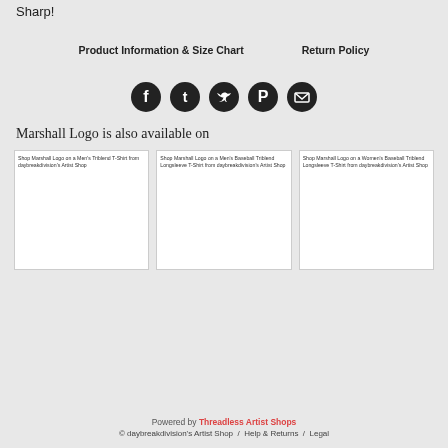Sharp!
Product Information & Size Chart   Return Policy
[Figure (infographic): Row of 5 circular dark social media icons: Facebook, Tumblr, Twitter, Pinterest, Email]
Marshall Logo is also available on
[Figure (screenshot): Three product cards side by side. Card 1: Shop Marshall Logo on a Men's Triblend T-Shirt from daybreakdivision's Artist Shop. Card 2: Shop Marshall Logo on a Men's Baseball Triblend Longsleeve T-Shirt from daybreakdivision's Artist Shop. Card 3: Shop Marshall Logo on a Women's Baseball Triblend Longsleeve T-Shirt from daybreakdivision's Artist Shop.]
Powered by Threadless Artist Shops
© daybreakdivision's Artist Shop / Help & Returns / Legal